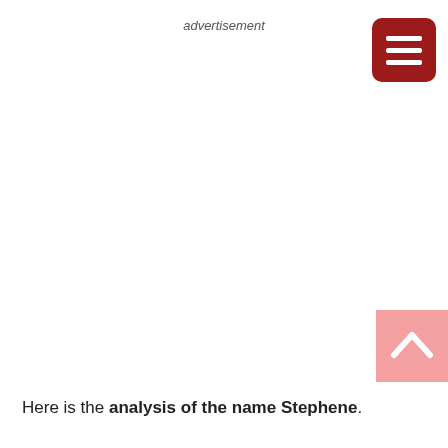advertisement
[Figure (other): Dark red rounded square button with three horizontal white lines (hamburger menu icon)]
[Figure (other): Pink square button with a white upward-pointing caret/chevron (scroll-to-top button)]
Here is the analysis of the name Stephene.